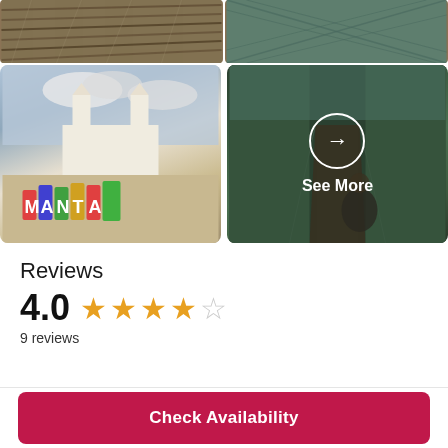[Figure (photo): Top photo strip showing wooden bridge planks and metal mesh/chain-link fence texture]
[Figure (photo): Town plaza photo showing a white colonial church with towers and colorful MANTA letters in foreground]
[Figure (photo): Suspension bridge walkway with people walking, overlaid with circle arrow and 'See More' text]
Reviews
4.0 ★★★★☆ 9 reviews
Check Availability